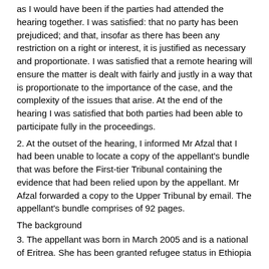as I would have been if the parties had attended the hearing together. I was satisfied: that no party has been prejudiced; and that, insofar as there has been any restriction on a right or interest, it is justified as necessary and proportionate. I was satisfied that a remote hearing will ensure the matter is dealt with fairly and justly in a way that is proportionate to the importance of the case, and the complexity of the issues that arise. At the end of the hearing I was satisfied that both parties had been able to participate fully in the proceedings.
2. At the outset of the hearing, I informed Mr Afzal that I had been unable to locate a copy of the appellant's bundle that was before the First-tier Tribunal containing the evidence that had been relied upon by the appellant. Mr Afzal forwarded a copy to the Upper Tribunal by email. The appellant's bundle comprises of 92 pages.
The background
3. The appellant was born in March 2005 and is a national of Eritrea. She has been granted refugee status in Ethiopia